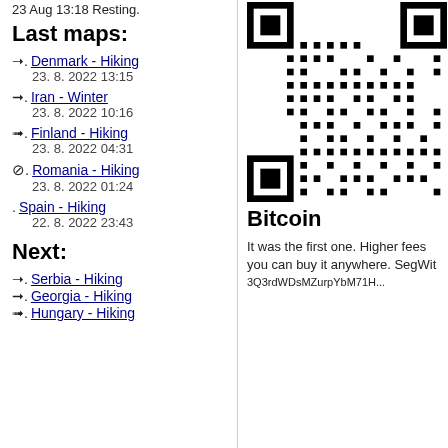23 Aug 13:18 Resting.
Last maps:
Denmark - Hiking
23. 8. 2022 13:15
Iran - Winter
23. 8. 2022 10:16
Finland - Hiking
23. 8. 2022 04:31
Romania - Hiking
23. 8. 2022 01:24
Spain - Hiking
22. 8. 2022 23:43
Next:
Serbia - Hiking
Georgia - Hiking
Hungary - Hiking
[Figure (other): QR code image]
Bitcoin
It was the first one. Higher fees you can buy it anywhere. SegWit...
3Q3rdWDsMZurpYbM71H...